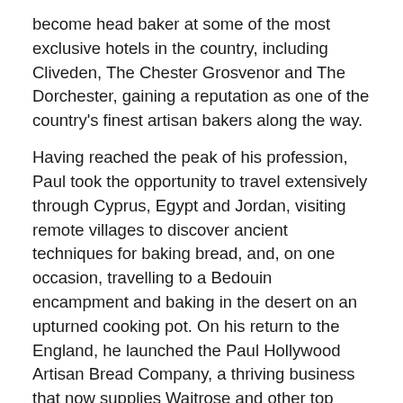become head baker at some of the most exclusive hotels in the country, including Cliveden, The Chester Grosvenor and The Dorchester, gaining a reputation as one of the country's finest artisan bakers along the way.
Having reached the peak of his profession, Paul took the opportunity to travel extensively through Cyprus, Egypt and Jordan, visiting remote villages to discover ancient techniques for baking bread, and, on one occasion, travelling to a Bedouin encampment and baking in the desert on an upturned cooking pot. On his return to the England, he launched the Paul Hollywood Artisan Bread Company, a thriving business that now supplies Waitrose and other top retailers with Paul's own branded bread.
Paul began his media career in 2002 on Carlton Food Network and Taste, where he co-presented two TV series with James Martin. He has since appeared in guest spots on a number of television programmes, including The Generation Game, The Heaven and Earth Show, This Morning and The Alan Titchmarsh Show.
In addition to being a judge on The Great British Bake Off